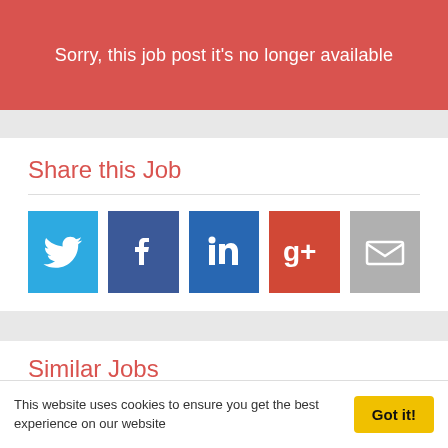Sorry, this job post it's no longer available
Share this Job
[Figure (infographic): Row of five social sharing icon buttons: Twitter (light blue), Facebook (dark blue), LinkedIn (dark blue), Google+ (red), Email (gray)]
Similar Jobs
Graduate Recruitment Consultant / Trainee Recruitment Consultant
This website uses cookies to ensure you get the best experience on our website